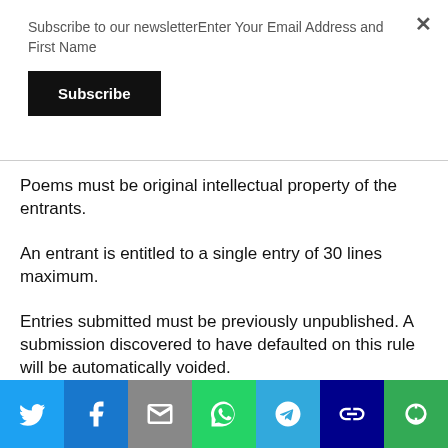Subscribe to our newsletterEnter Your Email Address and First Name
Subscribe
Poems must be original intellectual property of the entrants.
An entrant is entitled to a single entry of 30 lines maximum.
Entries submitted must be previously unpublished. A submission discovered to have defaulted on this rule will be automatically voided.
[Figure (infographic): Social sharing bar with icons for Twitter, Facebook, Email, WhatsApp, Telegram, Link, and More]